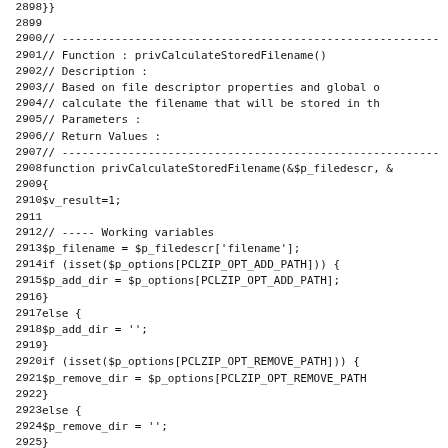Source code listing lines 2898-2930, PHP function privCalculateStoredFilename